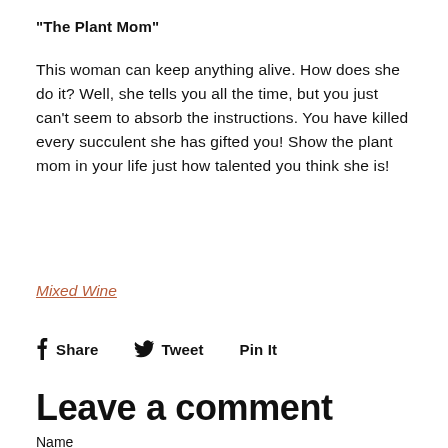"The Plant Mom"
This woman can keep anything alive. How does she do it? Well, she tells you all the time, but you just can't seem to absorb the instructions. You have killed every succulent she has gifted you! Show the plant mom in your life just how talented you think she is!
Mixed Wine
Share   Tweet   Pin It
Leave a comment
Name